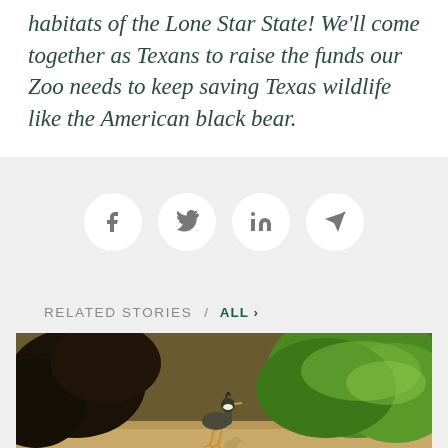habitats of the Lone Star State! We'll come together as Texans to raise the funds our Zoo needs to keep saving Texas wildlife like the American black bear.
[Figure (infographic): Social sharing icons row: Facebook, Twitter, LinkedIn, and a send/share (paper plane) icon, each inside a white circle on a light gray background.]
RELATED STORIES / ALL ›
[Figure (photo): Photo of a lapwing bird with a chick on sandy ground, surrounded by tropical foliage including dark-leaved plants and bright green variegated leaves.]